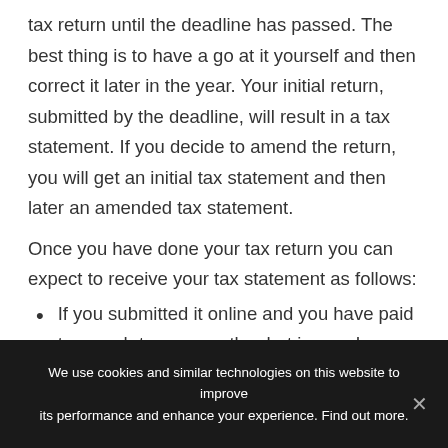tax return until the deadline has passed. The best thing is to have a go at it yourself and then correct it later in the year. Your initial return, submitted by the deadline, will result in a tax statement. If you decide to amend the return, you will get an initial tax statement and then later an amended tax statement.
Once you have done your tax return you can expect to receive your tax statement as follows:
If you submitted it online and you have paid too much tax or exactly what is owed you will receive your statement between 25th July and 5th August.
We use cookies and similar technologies on this website to improve its performance and enhance your experience. Find out more.